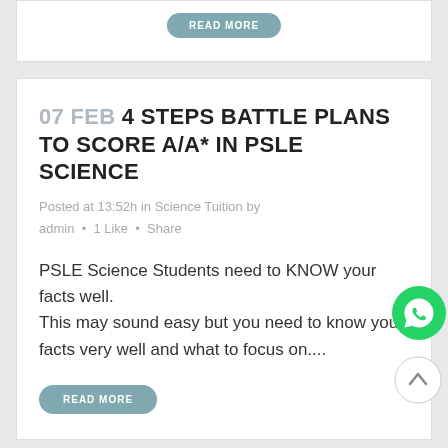[Figure (other): READ MORE button at top of page (partial card)]
07 FEB 4 STEPS BATTLE PLANS TO SCORE A/A* IN PSLE SCIENCE
Posted at 13:52h in Science Tuition by admin • 1 Like • Share
PSLE Science Students need to KNOW your facts well. This may sound easy but you need to know your facts very well and what to focus on....
[Figure (other): READ MORE button]
[Figure (other): WhatsApp floating button]
[Figure (other): Scroll to top floating button]